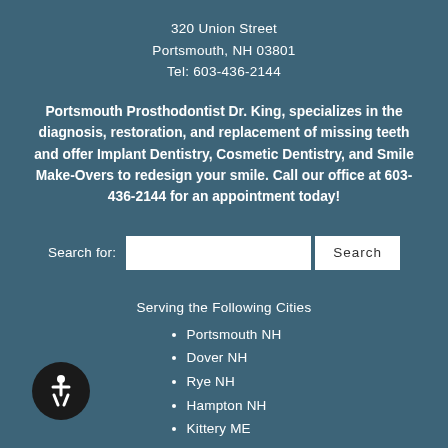320 Union Street
Portsmouth, NH 03801
Tel: 603-436-2144
Portsmouth Prosthodontist Dr. King, specializes in the diagnosis, restoration, and replacement of missing teeth and offer Implant Dentistry, Cosmetic Dentistry, and Smile Make-Overs to redesign your smile. Call our office at 603-436-2144 for an appointment today!
Search for:
Serving the Following Cities
Portsmouth NH
Dover NH
Rye NH
Hampton NH
Kittery ME
York ME